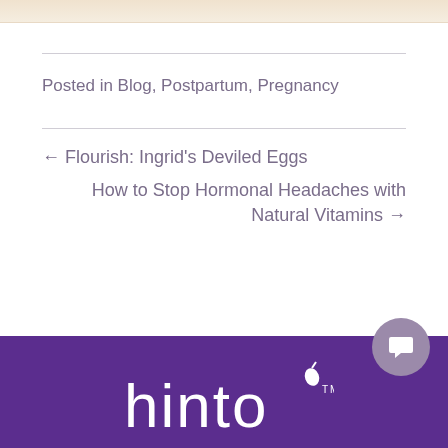[Figure (photo): Partial top image with beige/cream background, cropped at top of page]
Posted in Blog, Postpartum, Pregnancy
← Flourish: Ingrid's Deviled Eggs
How to Stop Hormonal Headaches with Natural Vitamins →
hinto (logo)